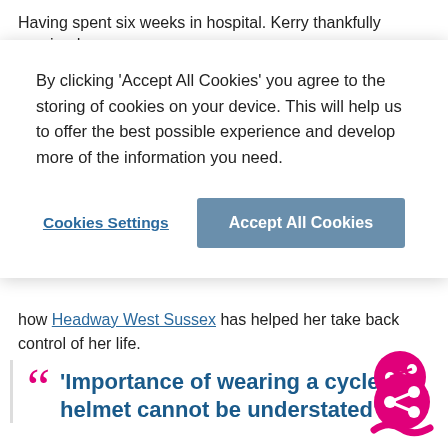Having spent six weeks in hospital. Kerry thankfully regained
By clicking 'Accept All Cookies' you agree to the storing of cookies on your device. This will help us to offer the best possible experience and develop more of the information you need.
Cookies Settings | Accept All Cookies
how Headway West Sussex has helped her take back control of her life.
“’Importance of wearing a cycle helmet cannot be understated’